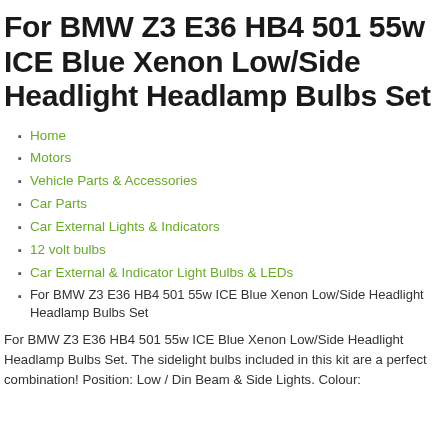For BMW Z3 E36 HB4 501 55w ICE Blue Xenon Low/Side Headlight Headlamp Bulbs Set
Home
Motors
Vehicle Parts & Accessories
Car Parts
Car External Lights & Indicators
12 volt bulbs
Car External & Indicator Light Bulbs & LEDs
For BMW Z3 E36 HB4 501 55w ICE Blue Xenon Low/Side Headlight Headlamp Bulbs Set
For BMW Z3 E36 HB4 501 55w ICE Blue Xenon Low/Side Headlight Headlamp Bulbs Set. The sidelight bulbs included in this kit are a perfect combination! Position: Low / Din Beam & Side Lights. Colour: